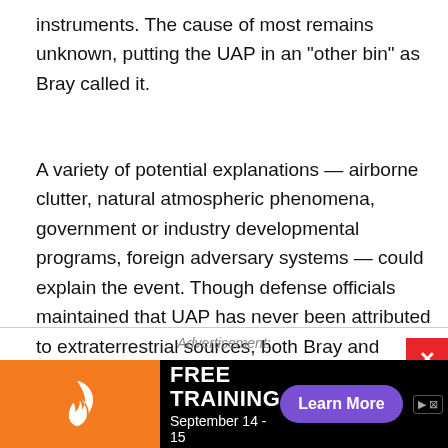instruments. The cause of most remains unknown, putting the UAP in an "other bin" as Bray called it.
A variety of potential explanations — airborne clutter, natural atmospheric phenomena, government or industry developmental programs, foreign adversary systems — could explain the event. Though defense officials maintained that UAP has never been attributed to extraterrestrial sources, both Bray and Moultrie were open to the possibility of extraterrestrial visitors as a possible cause.
Advertisement:
[Figure (other): Advertisement banner with orange background showing a flame logo, text 'FREE TRAINING' in white bold letters, date 'September 14 - 15', and a purple 'Learn More' button on a black background.]